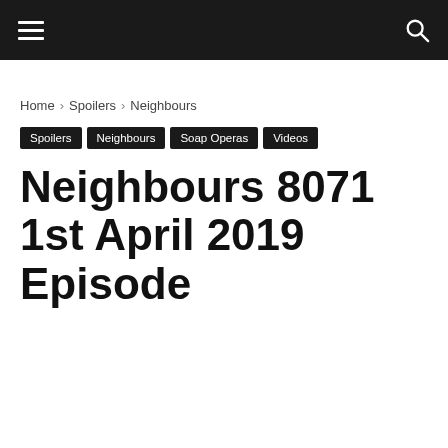☰  🔍
Home › Spoilers › Neighbours
Spoilers
Neighbours
Soap Operas
Videos
Neighbours 8071 1st April 2019 Episode